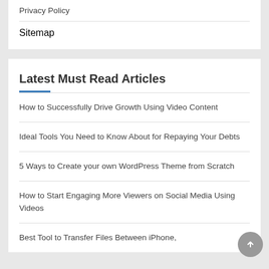Privacy Policy
Sitemap
Latest Must Read Articles
How to Successfully Drive Growth Using Video Content
Ideal Tools You Need to Know About for Repaying Your Debts
5 Ways to Create your own WordPress Theme from Scratch
How to Start Engaging More Viewers on Social Media Using Videos
Best Tool to Transfer Files Between iPhone,